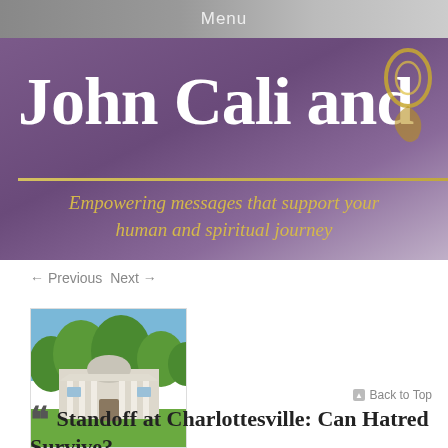Menu
John Cali and
Empowering messages that support your human and spiritual journey
← Previous   Next →
[Figure (photo): Exterior photograph of a historic mansion or estate building with white columns and dome, surrounded by green trees and lawn]
Back to Top
Standoff at Charlottesville: Can Hatred Survive?